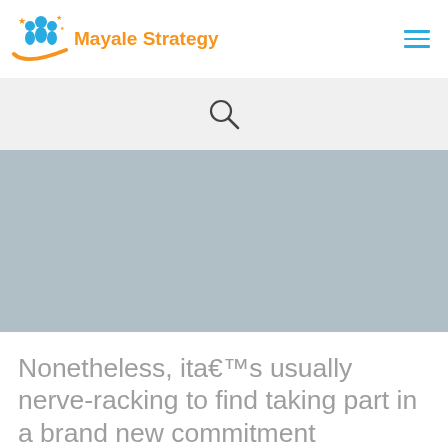[Figure (logo): Mayale Strategy logo with orange swoosh and blue people icons, with orange star accents]
[Figure (other): Hamburger menu icon with three horizontal blue lines]
[Figure (other): Search icon (magnifying glass) on light grey background]
[Figure (photo): Blue-grey placeholder hero image area]
Nonetheless, ita€™s usually nerve-racking to find taking part in a brand new commitment